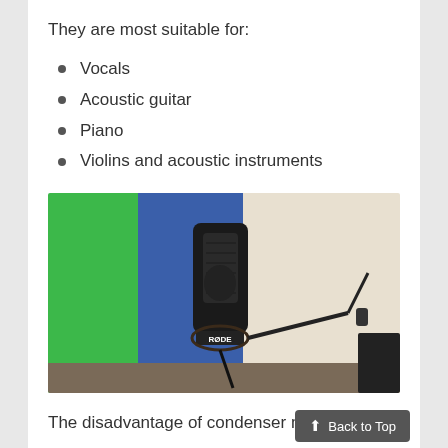They are most suitable for:
Vocals
Acoustic guitar
Piano
Violins and acoustic instruments
[Figure (photo): A RODE condenser microphone on a boom arm stand, in front of a blue door and green screen background in a recording studio setting.]
The disadvantage of condenser microp